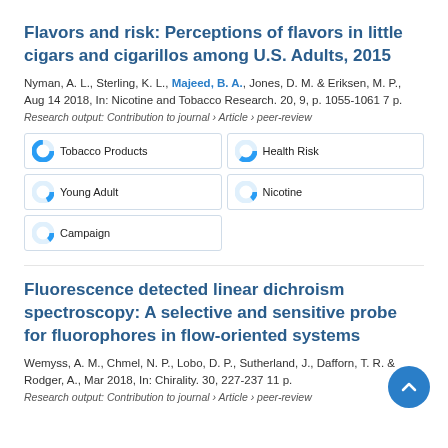Flavors and risk: Perceptions of flavors in little cigars and cigarillos among U.S. Adults, 2015
Nyman, A. L., Sterling, K. L., Majeed, B. A., Jones, D. M. & Eriksen, M. P., Aug 14 2018, In: Nicotine and Tobacco Research. 20, 9, p. 1055-1061 7 p.
Research output: Contribution to journal › Article › peer-review
Tobacco Products
Health Risk
Young Adult
Nicotine
Campaign
Fluorescence detected linear dichroism spectroscopy: A selective and sensitive probe for fluorophores in flow-oriented systems
Wemyss, A. M., Chmel, N. P., Lobo, D. P., Sutherland, J., Dafforn, T. R. & Rodger, A., Mar 2018, In: Chirality. 30, 227-237 11 p.
Research output: Contribution to journal › Article › peer-review